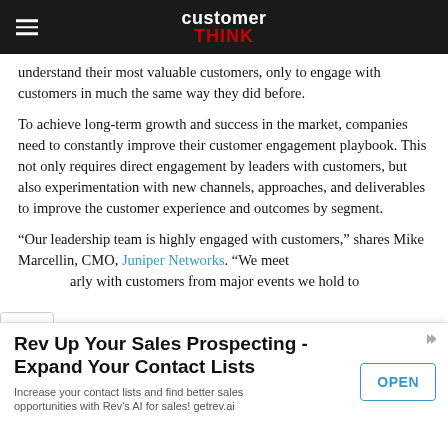customer THINK
understand their most valuable customers, only to engage with customers in much the same way they did before.
To achieve long-term growth and success in the market, companies need to constantly improve their customer engagement playbook. This not only requires direct engagement by leaders with customers, but also experimentation with new channels, approaches, and deliverables to improve the customer experience and outcomes by segment.
“Our leadership team is highly engaged with customers,” shares Mike Marcellin, CMO, Juniper Networks. “We meet …arly with customers from major events we hold to
[Figure (other): Advertisement banner: Rev Up Your Sales Prospecting - Expand Your Contact Lists. Increase your contact lists and find better sales opportunities with Rev's AI for sales! getrev.ai. OPEN button.]